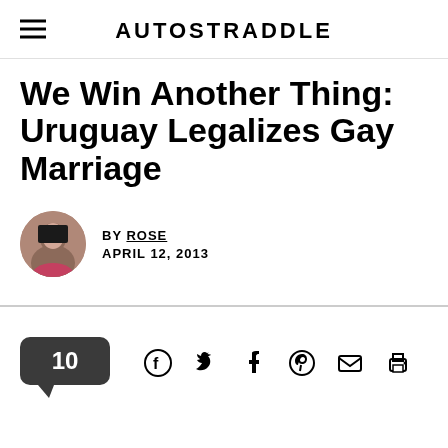AUTOSTRADDLE
We Win Another Thing: Uruguay Legalizes Gay Marriage
BY ROSE
APRIL 12, 2013
[Figure (infographic): Social sharing bar with comment count bubble showing 10, and icons for Facebook, Twitter, Tumblr, Pinterest, email, and print]